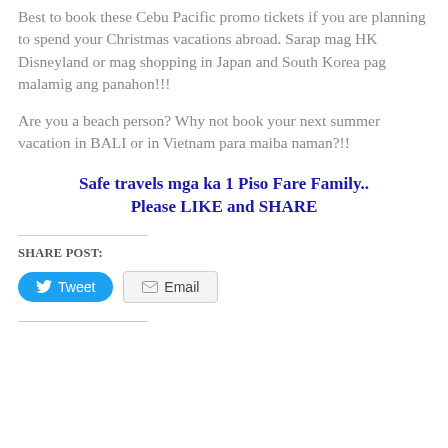Best to book these Cebu Pacific promo tickets if you are planning to spend your Christmas vacations abroad. Sarap mag HK Disneyland or mag shopping in Japan and South Korea pag malamig ang panahon!!!
Are you a beach person? Why not book your next summer vacation in BALI or in Vietnam para maiba naman?!!
Safe travels mga ka 1 Piso Fare Family.. Please LIKE and SHARE
SHARE POST: